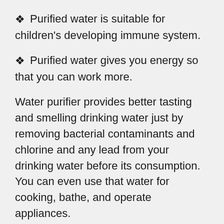❖ Purified water is suitable for children's developing immune system.
❖ Purified water gives you energy so that you can work more.
Water purifier provides better tasting and smelling drinking water just by removing bacterial contaminants and chlorine and any lead from your drinking water before its consumption. You can even use that water for cooking, bathe, and operate appliances.
When you install RO water purifier, it will remove the minerals which cause long